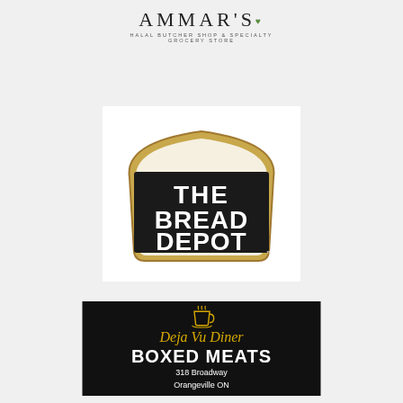[Figure (logo): Ammar's Halal Butcher Shop & Specialty Grocery Store logo — stylized text with a small green heart accent]
[Figure (logo): The Bread Depot logo — bold black text styled inside a bread loaf shape with gold/tan border on white background]
[Figure (logo): Deja Vu Diner Boxed Meats logo — black background with gold coffee cup icon, italic gold 'Deja Vu Diner' text, bold white 'BOXED MEATS', address '318 Broadway, Orangeville ON']